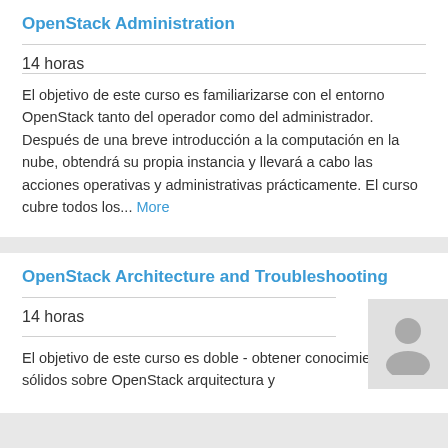OpenStack Administration
14 horas
El objetivo de este curso es familiarizarse con el entorno OpenStack tanto del operador como del administrador. Después de una breve introducción a la computación en la nube, obtendrá su propia instancia y llevará a cabo las acciones operativas y administrativas prácticamente. El curso cubre todos los... More
OpenStack Architecture and Troubleshooting
14 horas
El objetivo de este curso es doble - obtener conocimientos sólidos sobre OpenStack arquitectura y